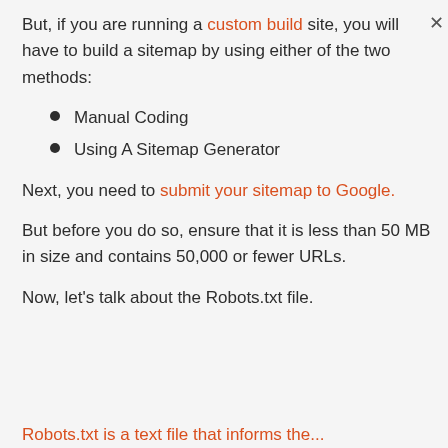But, if you are running a custom build site, you will have to build a sitemap by using either of the two methods:
Manual Coding
Using A Sitemap Generator
Next, you need to submit your sitemap to Google.
But before you do so, ensure that it is less than 50 MB in size and contains 50,000 or fewer URLs.
Now, let's talk about the Robots.txt file.
Robots.txt is a text file that informs the...